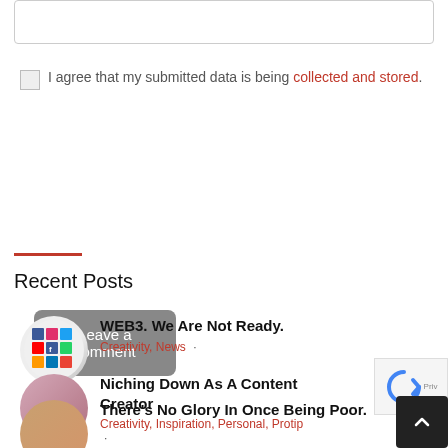(form input box)
I agree that my submitted data is being collected and stored.
Leave a comment
Recent Posts
WEB3. We Are Not Ready.
Creativity, News
Niching Down As A Content Creator
Creativity, Inspiration, Personal, Protip
There's No Glory In Once Being Poor.